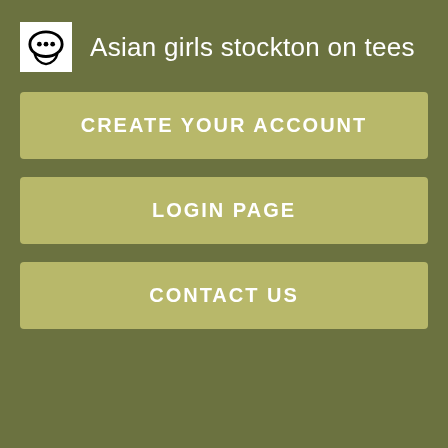Asian girls stockton on tees
CREATE YOUR ACCOUNT
LOGIN PAGE
CONTACT US
clothes, it can be offered.
Single moms can receive help and assistance in all cities and counties across the state of Illinois. Assistance programs help with free food, housing costs, rent, energy bills, mortgages, and free health care. Free Food Banks Free or low cost food, groceries, and other financial support, can be provided by Massage taylors